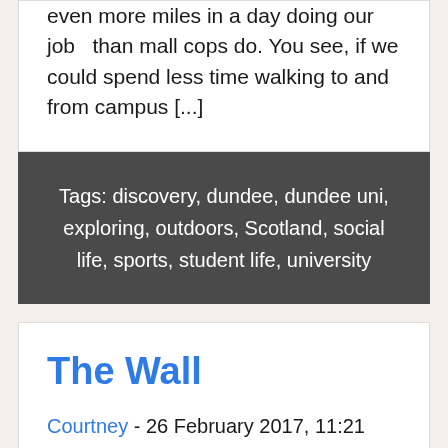even more miles in a day doing our job  than mall cops do. You see, if we could spend less time walking to and from campus [...]
Tags: discovery, dundee, dundee uni, exploring, outdoors, Scotland, social life, sports, student life, university
The Wall
Courtney - 26 February 2017, 11:21
0 Comments